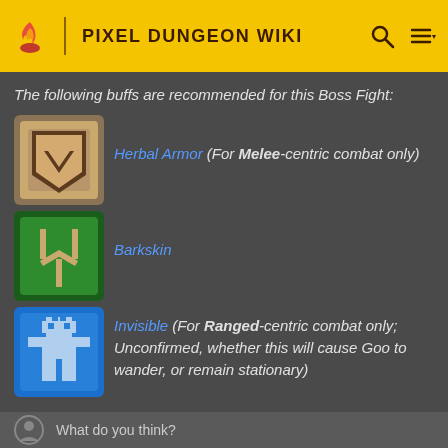PIXEL DUNGEON WIKI
The following buffs are recommended for this Boss Fight:
[Figure (illustration): Herbal Armor pixel art icon — shield shape with brown border on tan background]
Herbal Armor (For Melee-centric combat only)
[Figure (illustration): Barkskin pixel art icon — green background with beige forked symbol]
Barkskin
[Figure (illustration): Invisible buff pixel art icon — blue background with white pixelated figure]
Invisible (For Ranged-centric combat only; Unconfirmed, whether this will cause Goo to wander, or remain stationary)
What do you think?